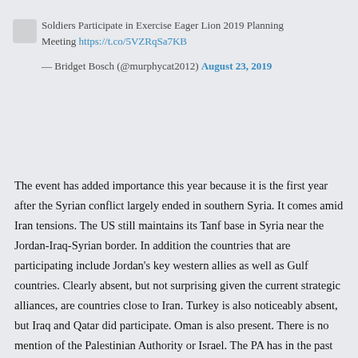Soldiers Participate in Exercise Eager Lion 2019 Planning Meeting https://t.co/5VZRqSa7KB
— Bridget Bosch (@murphycat2012) August 23, 2019
The event has added importance this year because it is the first year after the Syrian conflict largely ended in southern Syria. It comes amid Iran tensions. The US still maintains its Tanf base in Syria near the Jordan-Iraq-Syrian border. In addition the countries that are participating include Jordan's key western allies as well as Gulf countries. Clearly absent, but not surprising given the current strategic alliances, are countries close to Iran. Turkey is also noticeably absent, but Iraq and Qatar did participate. Oman is also present. There is no mention of the Palestinian Authority or Israel. The PA has in the past sent forces to Jordan for training and the US Security Coordinator has supported the PA security forces.